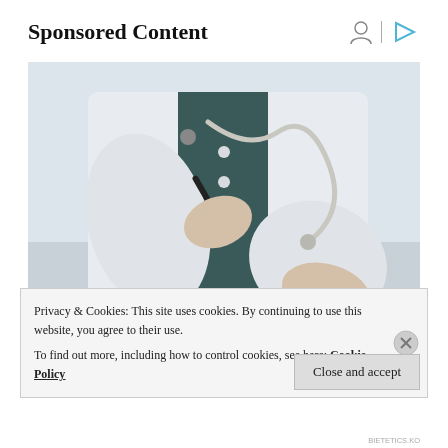Sponsored Content
[Figure (photo): Doctor in white lab coat holding a pen, gesturing with open hand toward a patient sitting across a desk. Doctor has stethoscope around neck.]
Privacy & Cookies: This site uses cookies. By continuing to use this website, you agree to their use.
To find out more, including how to control cookies, see here: Cookie Policy
Close and accept